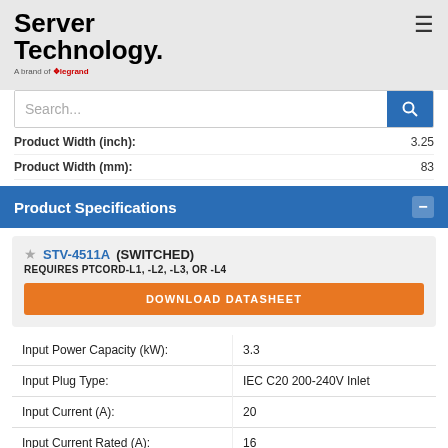Server Technology. A brand of Legrand.
Search...
| Product Width (inch): | 3.25 |
| Product Width (mm): | 83 |
Product Specifications
STV-4511A (SWITCHED) REQUIRES PTCORD-L1, -L2, -L3, OR -L4
DOWNLOAD DATASHEET
| Input Power Capacity (kW): | 3.3 |
| Input Plug Type: | IEC C20 200-240V Inlet |
| Input Current (A): | 20 |
| Input Current Rated (A): | 16 |
| Input Nominal Voltage (V): | 208 |